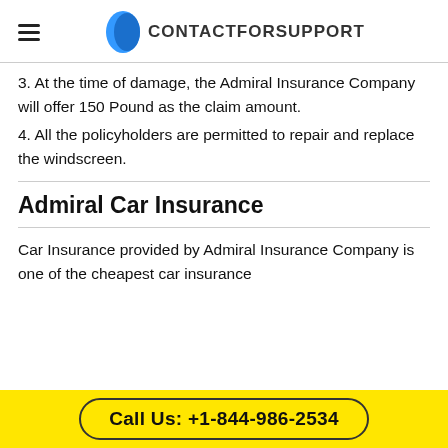CONTACTFORSUPPORT
3. At the time of damage, the Admiral Insurance Company will offer 150 Pound as the claim amount.
4. All the policyholders are permitted to repair and replace the windscreen.
Admiral Car Insurance
Car Insurance provided by Admiral Insurance Company is one of the cheapest car insurance
Call Us: +1-844-986-2534